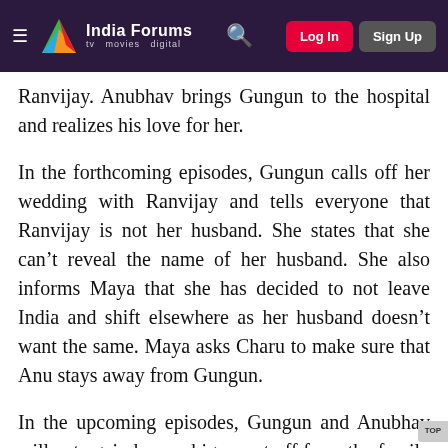India Forums — tv movies digital | Log In | Sign Up
Ranvijay. Anubhav brings Gungun to the hospital and realizes his love for her.
In the forthcoming episodes, Gungun calls off her wedding with Ranvijay and tells everyone that Ranvijay is not her husband. She states that she can't reveal the name of her husband. She also informs Maya that she has decided to not leave India and shift elsewhere as her husband doesn't want the same. Maya asks Charu to make sure that Anu stays away from Gungun.
In the upcoming episodes, Gungun and Anubhav will yet again keep a big secret off from the family as they'll go on Anu's tour and the family wouldn't know about the same. Until now, Anubhav hasn't